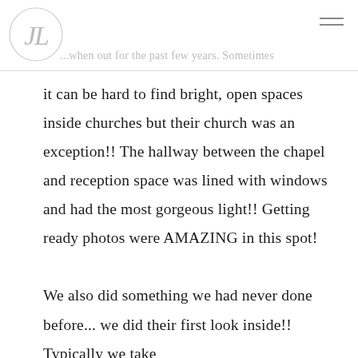JL (logo)
...when out for the past few years. Sometimes it can be hard to find bright, open spaces inside churches but their church was an exception!! The hallway between the chapel and reception space was lined with windows and had the most gorgeous light!! Getting ready photos were AMAZING in this spot!

We also did something we had never done before... we did their first look inside!! Typically we take